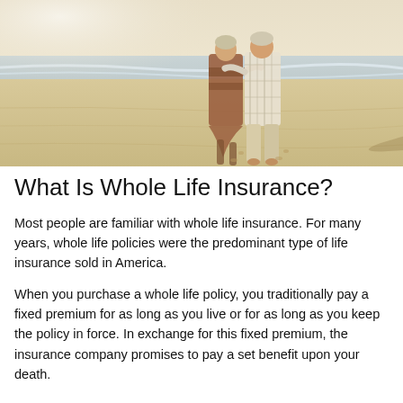[Figure (photo): An elderly couple walking together on a beach, viewed from behind. The woman wears a patterned wrap and the man wears a light plaid shirt. Warm sandy beach with ocean waves in the background.]
What Is Whole Life Insurance?
Most people are familiar with whole life insurance. For many years, whole life policies were the predominant type of life insurance sold in America.
When you purchase a whole life policy, you traditionally pay a fixed premium for as long as you live or for as long as you keep the policy in force. In exchange for this fixed premium, the insurance company promises to pay a set benefit upon your death.